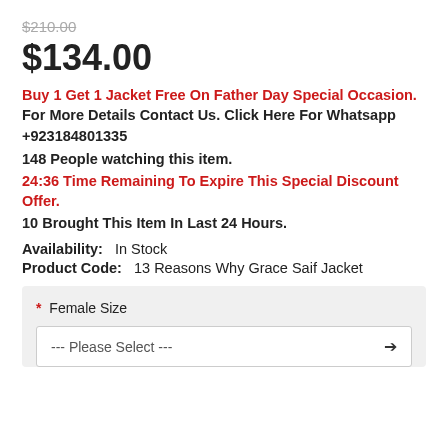$210.00 (strikethrough)
$134.00
Buy 1 Get 1 Jacket Free On Father Day Special Occasion. For More Details Contact Us. Click Here For Whatsapp +923184801335
148 People watching this item.
24:36 Time Remaining To Expire This Special Discount Offer.
10 Brought This Item In Last 24 Hours.
Availability:   In Stock
Product Code:   13 Reasons Why Grace Saif Jacket
* Female Size
--- Please Select ---